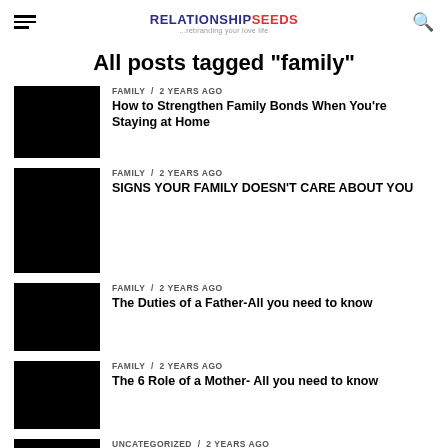RELATIONSHIPSEEDS ...rebranding your love life
All posts tagged "family"
FAMILY / 2 years ago — How to Strengthen Family Bonds When You're Staying at Home
FAMILY / 2 years ago — SIGNS YOUR FAMILY DOESN'T CARE ABOUT YOU
FAMILY / 2 years ago — The Duties of a Father-All you need to know
FAMILY / 2 years ago — The 6 Role of a Mother- All you need to know
UNCATEGORIZED / 2 years ago — Familial Factors Affecting Childhood